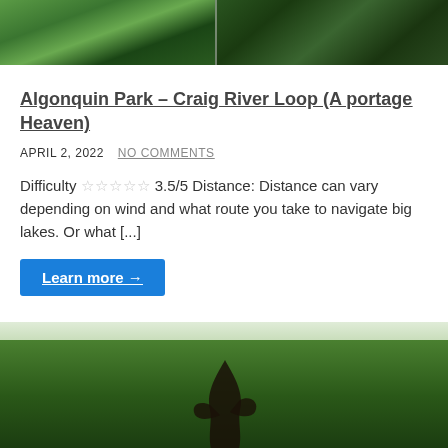[Figure (photo): Aerial/satellite map view of Algonquin Park area showing forest and lakes, split into two panels]
Algonquin Park – Craig River Loop (A portage Heaven)
APRIL 2, 2022   NO COMMENTS
Difficulty ☆☆☆☆☆ 3.5/5 Distance: Distance can vary depending on wind and what route you take to navigate big lakes. Or what [...]
Learn more →
[Figure (photo): Photo of roadside with dense green coniferous forest and a dark sculpture or sign in the foreground]